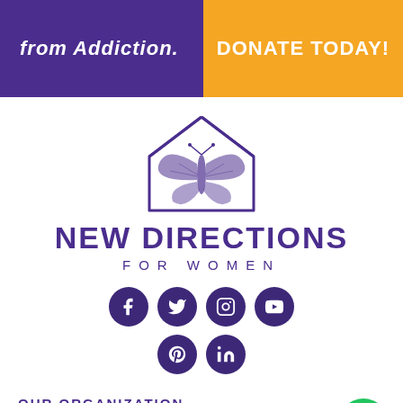from Addiction.   DONATE TODAY!
[Figure (logo): New Directions for Women logo: butterfly inside a house outline, purple/violet color]
NEW DIRECTIONS FOR WOMEN
[Figure (infographic): Social media icons row 1: Facebook, Twitter, Instagram, YouTube; row 2: Pinterest, LinkedIn — all dark purple circles with white icons]
OUR ORGANIZATION
About Us